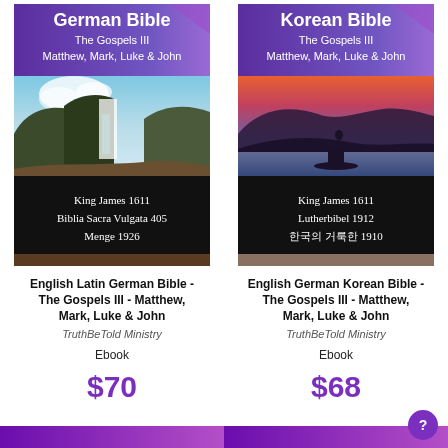[Figure (photo): Book cover for English Latin German Bible - The Gospels III. Blue/purple gradient header reading 'German Bible', subtitle 'The Gospels III Matthew, Mark, Luke & John'. Landscape nature photo with waterfall and cliffs. Black footer with 'King James 1611', 'Biblia Sacra Vulgata 405', 'Menge 1926'.]
English Latin German Bible - The Gospels III - Matthew, Mark, Luke & John
TruthBeTold Ministry
Ebook
$70
[Figure (photo): Book cover for English German Korean Bible - The Gospels III. Blue/purple gradient header reading 'Korean Bible', subtitle 'The Gospels III Matthew, Mark, Luke & John'. Photo of a person in a boat on a lake at sunset with mountains. Black footer with 'King James 1611', 'Lutherbibel 1912', '한국의 거룩한 1910'.]
English German Korean Bible - The Gospels III - Matthew, Mark, Luke & John
TruthBeTold Ministry
Ebook
$68